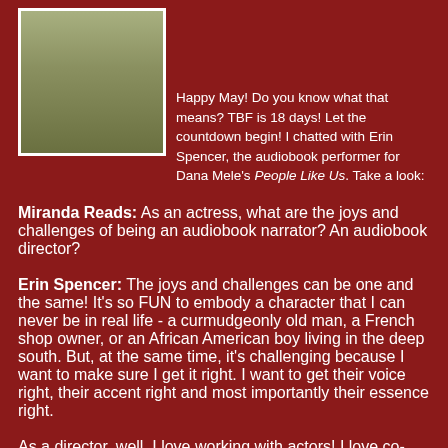[Figure (photo): Photo of a person wearing an olive/army green jacket, cropped at upper body, against a light background.]
Happy May! Do you know what that means? TBF is 18 days! Let the countdown begin! I chatted with Erin Spencer, the audiobook performer for Dana Mele's People Like Us. Take a look:
Miranda Reads: As an actress, what are the joys and challenges of being an audiobook narrator? An audiobook director?
Erin Spencer: The joys and challenges can be one and the same! It's so FUN to embody a character that I can never be in real life - a curmudgeonly old man, a French shop owner, or an African American boy living in the deep south. But, at the same time, it's challenging because I want to make sure I get it right. I want to get their voice right, their accent right and most importantly their essence right.
As a director, well, I love working with actors! I love co-creating the story and the characters together in the studio. It